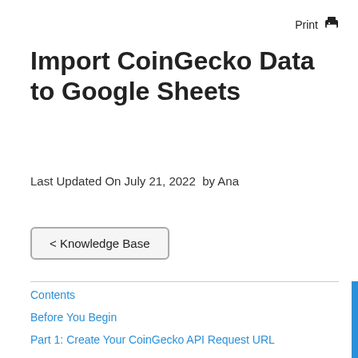Print
Import CoinGecko Data to Google Sheets
Last Updated On July 21, 2022  by Ana
< Knowledge Base
Contents
Before You Begin
Part 1: Create Your CoinGecko API Request URL
Part 2: Pull CoinGecko API Data into Sheets
Part 3: More Example API URLs